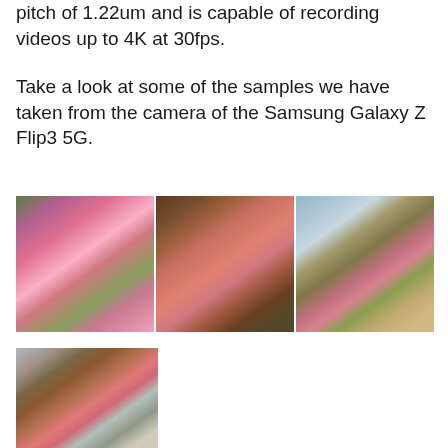pitch of 1.22um and is capable of recording videos up to 4K at 30fps.
Take a look at some of the samples we have taken from the camera of the Samsung Galaxy Z Flip3 5G.
[Figure (photo): Three camera sample photos from Samsung Galaxy Z Flip3 5G arranged side by side, showing pink flowers (portulaca/moss rose) in different zoom levels and angles, with a building visible in the rightmost photo background.]
[Figure (photo): A fourth camera sample photo from Samsung Galaxy Z Flip3 5G showing a pink flower (portulaca/moss rose) against a bench and building background.]